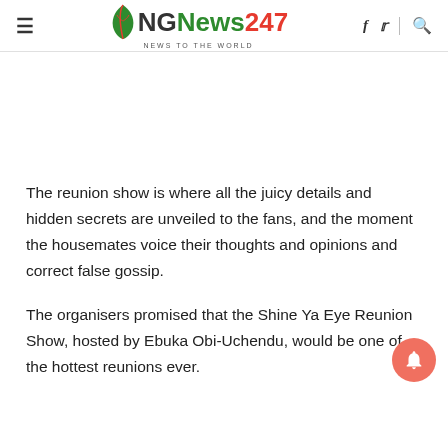NGNews247 – News to the World
The reunion show is where all the juicy details and hidden secrets are unveiled to the fans, and the moment the housemates voice their thoughts and opinions and correct false gossip.
The organisers promised that the Shine Ya Eye Reunion Show, hosted by Ebuka Obi-Uchendu, would be one of the hottest reunions ever.